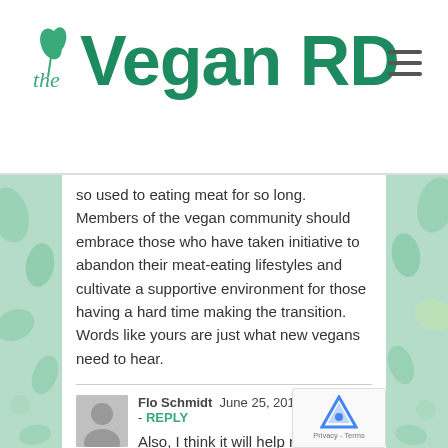[Figure (logo): The Vegan RD website logo with green leaf illustration and hamburger menu icon]
so used to eating meat for so long. Members of the vegan community should embrace those who have taken initiative to abandon their meat-eating lifestyles and cultivate a supportive environment for those having a hard time making the transition. Words like yours are just what new vegans need to hear.
Flo Schmidt  June 25, 2018 at 3:54 pm - REPLY
Also, I think it will help newbie vegans to stay motivated if they are reminded of why they chose to embrace this way of life in the first place. For some, it's